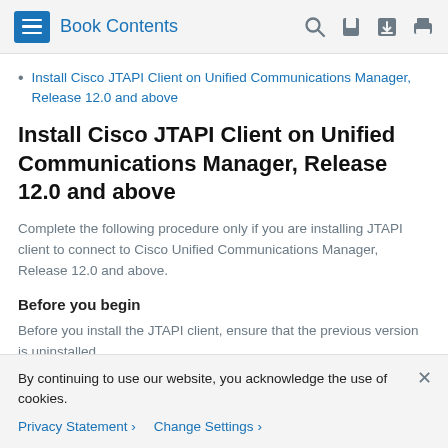Book Contents
Install Cisco JTAPI Client on Unified Communications Manager, Release 12.0 and above
Install Cisco JTAPI Client on Unified Communications Manager, Release 12.0 and above
Complete the following procedure only if you are installing JTAPI client to connect to Cisco Unified Communications Manager, Release 12.0 and above.
Before you begin
Before you install the JTAPI client, ensure that the previous version is uninstalled.
By continuing to use our website, you acknowledge the use of cookies.
Privacy Statement › Change Settings ›